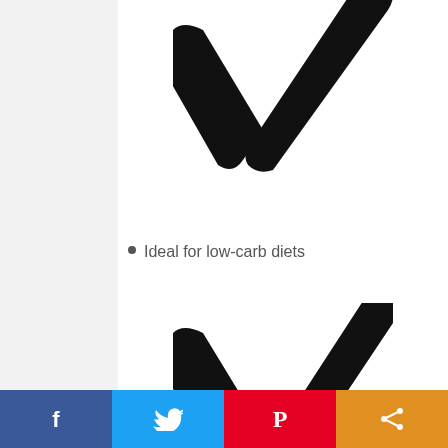[Figure (illustration): Large black checkmark symbol (top portion visible, cropped at top)]
Ideal for low-carb diets
[Figure (illustration): Large black checkmark symbol (second instance)]
[Figure (other): Advertisement banner: Jockeze Jock Itch Treatment with cycling crowd image]
[Figure (other): Social sharing bar with Facebook, Twitter, Pinterest, and share buttons]